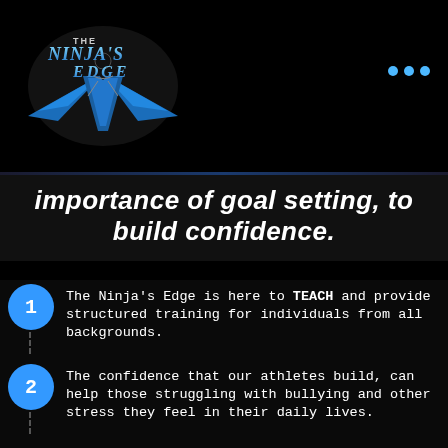[Figure (logo): The Ninja's Edge logo — a ninja silhouette with blue angular wings and text reading THE NINJA'S EDGE in stylized font on dark background]
importance of goal setting, to build confidence.
The Ninja's Edge is here to TEACH and provide structured training for individuals from all backgrounds.
The confidence that our athletes build, can help those struggling with bullying and other stress they feel in their daily lives.
We know that consistent training has the power to change bodies and minds to improve the quality of all lives.
We train our clients with techniques to ensure safety and athletic success.